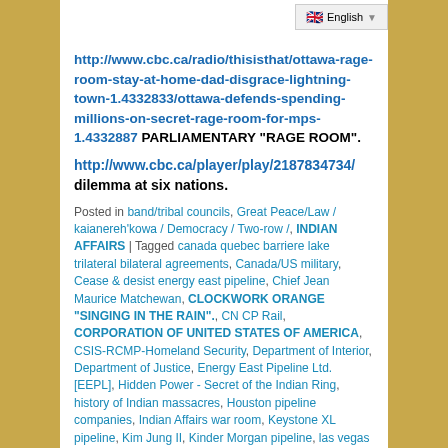English (language selector)
http://www.cbc.ca/radio/thisisthat/ottawa-rage-room-stay-at-home-dad-disgrace-lightning-town-1.4332833/ottawa-defends-spending-millions-on-secret-rage-room-for-mps-1.4332887 PARLIAMENTARY "RAGE ROOM".
http://www.cbc.ca/player/play/2187834734/ dilemma at six nations.
Posted in band/tribal councils, Great Peace/Law / kaianereh'kowa / Democracy / Two-row /, INDIAN AFFAIRS | Tagged canada quebec barriere lake trilateral bilateral agreements, Canada/US military, Cease & desist energy east pipeline, Chief Jean Maurice Matchewan, CLOCKWORK ORANGE "SINGING IN THE RAIN"., CN CP Rail, CORPORATION OF UNITED STATES OF AMERICA, CSIS-RCMP-Homeland Security, Department of Interior, Department of Justice, Energy East Pipeline Ltd. [EEPL], Hidden Power - Secret of the Indian Ring, history of Indian massacres, Houston pipeline companies, Indian Affairs war room, Keystone XL pipeline, Kim Jung II, Kinder Morgan pipeline, las vegas shoot out, Mining Watch,